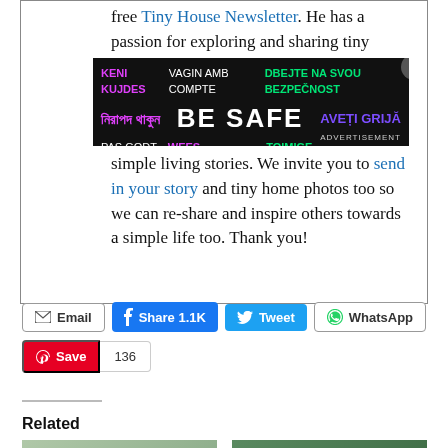free Tiny House Newsletter. He has a passion for exploring and sharing tiny simple living stories. We invite you to send in your story and tiny home photos too so we can re-share and inspire others towards a simple life too. Thank you!
[Figure (infographic): Advertisement banner with multilingual 'BE SAFE' text in various colors on a dark background, with a close button.]
[Figure (infographic): Social share buttons: Email, Share 1.1K (Facebook), Tweet (Twitter), WhatsApp, Save (Pinterest) with count 136]
Related